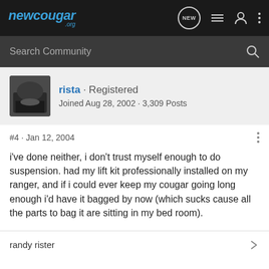[Figure (screenshot): newcougar.org navigation bar with logo and icons]
[Figure (screenshot): Search Community bar]
rista · Registered
Joined Aug 28, 2002 · 3,309 Posts
#4 · Jan 12, 2004
i've done neither, i don't trust myself enough to do suspension. had my lift kit professionally installed on my ranger, and if i could ever keep my cougar going long enough i'd have it bagged by now (which sucks cause all the parts to bag it are sitting in my bed room).
randy rister